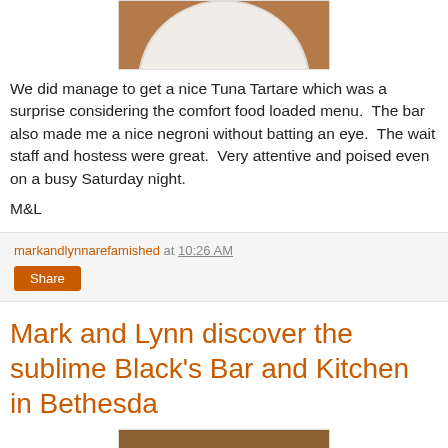[Figure (photo): Top portion of a photo showing a white plate on a wooden table surface, cropped at the top]
We did manage to get a nice Tuna Tartare which was a surprise considering the comfort food loaded menu.  The bar also made me a nice negroni without batting an eye.  The wait staff and hostess were great.  Very attentive and poised even on a busy Saturday night.
M&L
markandlynnarefamished at 10:26 AM
Share
Mark and Lynn discover the sublime Black's Bar and Kitchen in Bethesda
[Figure (photo): Bottom portion of page showing top edge of a photo, appears to be food or table setting with warm brown tones]